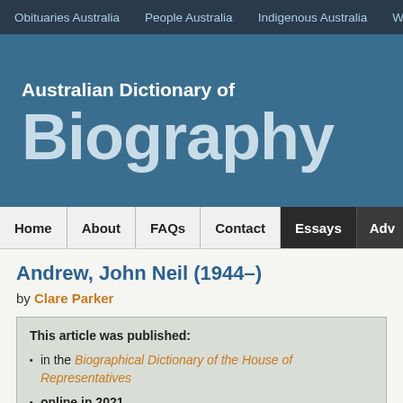Obituaries Australia   People Australia   Indigenous Australia   Wo...
Australian Dictionary of Biography
Home   About   FAQs   Contact   Essays   Adv...
Andrew, John Neil (1944–)
by Clare Parker
This article was published:
• in the Biographical Dictionary of the House of Representatives
• online in 2021